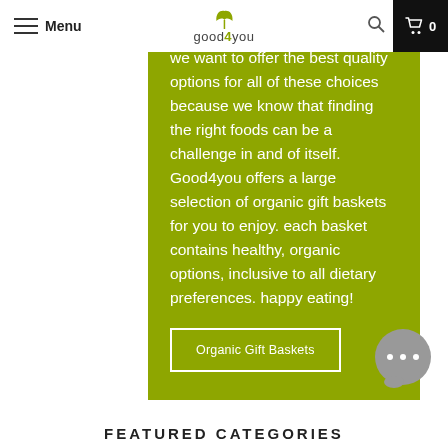Menu | good4you | 0
we want to offer the best quality options for all of these choices because we know that finding the right foods can be a challenge in and of itself. Good4you offers a large selection of organic gift baskets for you to enjoy. each basket contains healthy, organic options, inclusive to all dietary preferences. happy eating!
Organic Gift Baskets
[Figure (other): Grey chat bubble icon with three dots (…) indicating a chat widget in the bottom right corner]